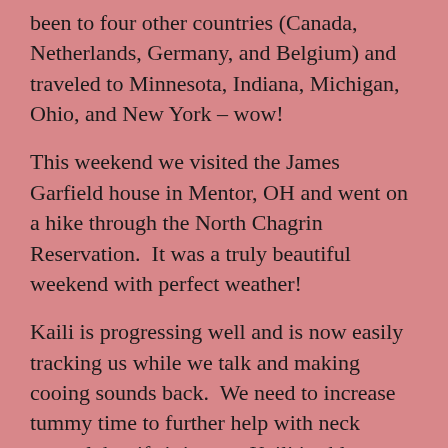been to four other countries (Canada, Netherlands, Germany, and Belgium) and traveled to Minnesota, Indiana, Michigan, Ohio, and New York – wow!
This weekend we visited the James Garfield house in Mentor, OH and went on a hike through the North Chagrin Reservation.  It was a truly beautiful weekend with perfect weather!
Kaili is progressing well and is now easily tracking us while we talk and making cooing sounds back.  We need to increase tummy time to further help with neck control, but if sitting up, Kaili is able to hold her head pretty good!
Kaili – you're quickly developing and growing